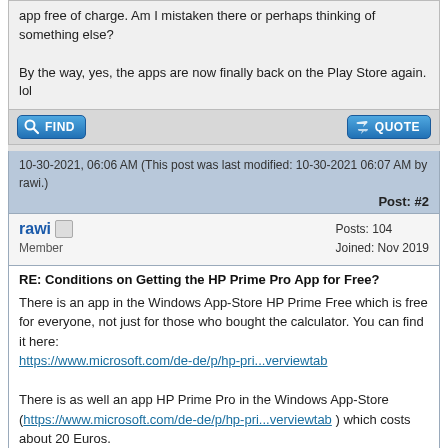app free of charge. Am I mistaken there or perhaps thinking of something else?

By the way, yes, the apps are now finally back on the Play Store again. lol
[Figure (screenshot): FIND and QUOTE buttons in a forum post action bar]
10-30-2021, 06:06 AM (This post was last modified: 10-30-2021 06:07 AM by rawi.)
Post: #2
rawi  Offline
Member
Posts: 104
Joined: Nov 2019
RE: Conditions on Getting the HP Prime Pro App for Free?
There is an app in the Windows App-Store HP Prime Free which is free for everyone, not just for those who bought the calculator. You can find it here:
https://www.microsoft.com/de-de/p/hp-pri...verviewtab

There is as well an app HP Prime Pro in the Windows App-Store (https://www.microsoft.com/de-de/p/hp-pri...verviewtab ) which costs about 20 Euros.

I am not sure what the difference is. According to the description of HP Prome Pro the programming language is included whereas